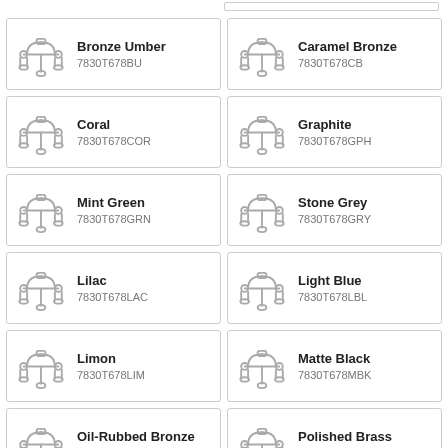Caramel Bronze 7830T678CB
Bronze Umber 7830T678BU
Caramel Bronze 7830T678CB
Coral 7830T678COR
Graphite 7830T678GPH
Mint Green 7830T678GRN
Stone Grey 7830T678GRY
Lilac 7830T678LAC
Light Blue 7830T678LBL
Limon 7830T678LIM
Matte Black 7830T678MBK
Oil-Rubbed Bronze 7830T678ORB
Polished Brass 7830T678PB
Polished Chrome 7830T678PCH
Polished Copper 7830T678PCU